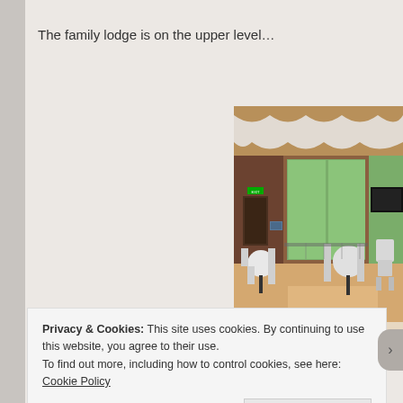The family lodge is on the upper level…
[Figure (photo): Interior photo of a lodge/event room with wooden walls, large windows, white draped curtains, round tables with white chairs, and a wooden floor. Natural light comes through the windows.]
Privacy & Cookies: This site uses cookies. By continuing to use this website, you agree to their use.
To find out more, including how to control cookies, see here: Cookie Policy
Close and accept